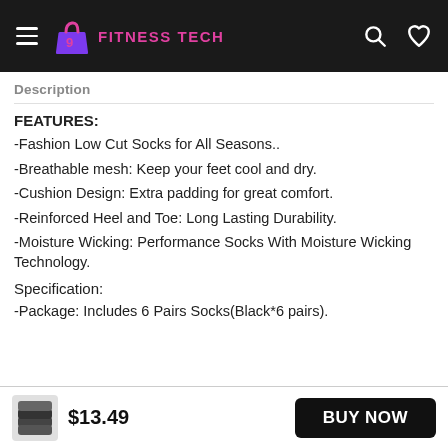FITNESS TECH
Description
FEATURES:
-Fashion Low Cut Socks for All Seasons..
-Breathable mesh: Keep your feet cool and dry.
-Cushion Design: Extra padding for great comfort.
-Reinforced Heel and Toe: Long Lasting Durability.
-Moisture Wicking: Performance Socks With Moisture Wicking Technology.
Specification:
-Package: Includes 6 Pairs Socks(Black*6 pairs).
$13.49  BUY NOW